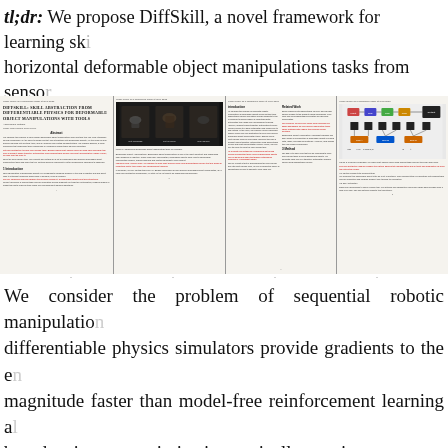tl;dr: We propose DiffSkill, a novel framework for learning skills for horizontal deformable object manipulations tasks from sensor...
[Figure (screenshot): Four paper page thumbnails shown side by side: page 1 shows the DiffSkill paper title and abstract with some text highlighted in red; page 2 shows a dark photograph of robotic manipulation with sub-images; page 3 shows two-column paper text; page 4 shows a diagram with colored boxes and arrows representing the method architecture.]
We consider the problem of sequential robotic manipulation. differentiable physics simulators provide gradients to the en... magnitude faster than model-free reinforcement learning al... based trajectory optimization typically requires access to the... due to local optima. In this work, we propose a novel framew... abstraction to solve long-horizon deformable object manipula... horizon skills for using each individual tool from a gradie... demonstration videos; Finally, we plan over the skills to solve...